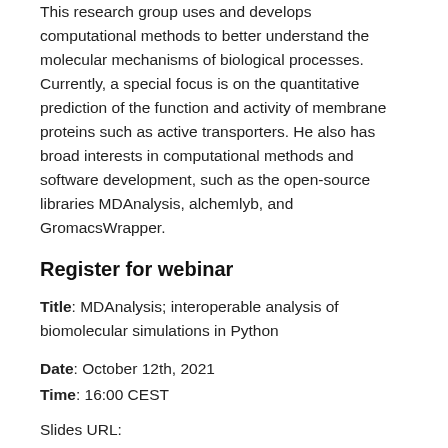This research group uses and develops computational methods to better understand the molecular mechanisms of biological processes. Currently, a special focus is on the quantitative prediction of the function and activity of membrane proteins such as active transporters. He also has broad interests in computational methods and software development, such as the open-source libraries MDAnalysis, alchemlyb, and GromacsWrapper.
Register for webinar
Title: MDAnalysis; interoperable analysis of biomolecular simulations in Python
Date: October 12th, 2021
Time: 16:00 CEST
Slides URL: